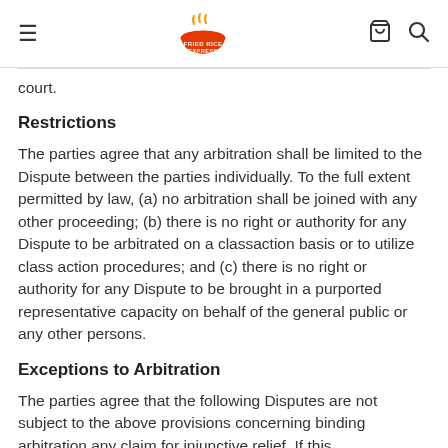Fried Rice Express — navigation header with hamburger menu, logo, cart and search icons
court.
Restrictions
The parties agree that any arbitration shall be limited to the Dispute between the parties individually. To the full extent permitted by law, (a) no arbitration shall be joined with any other proceeding; (b) there is no right or authority for any Dispute to be arbitrated on a classaction basis or to utilize class action procedures; and (c) there is no right or authority for any Dispute to be brought in a purported representative capacity on behalf of the general public or any other persons.
Exceptions to Arbitration
The parties agree that the following Disputes are not subject to the above provisions concerning binding arbitration any claim for injunctive relief. If this